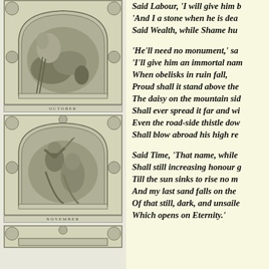[Figure (illustration): Gothic arch-framed illustration for October showing a harvest scene with vegetables, a jug, and agricultural tools]
[Figure (illustration): Gothic arch-framed illustration for November showing two figures, one bearded man holding wheat or grass]
[Figure (illustration): Partial Gothic arch-framed illustration at bottom, partially visible]
Said Labour, 'I will give him b
'And I a stone when he is dea
Said Wealth, while Shame hu

'He'll need no monument,' sa
'I'll give him an immortal nam
When obelisks in ruin fall,
Proud shall it stand above the
The daisy on the mountain sid
Shall ever spread it far and wi
Even the road-side thistle dow
Shall blow abroad his high re

Said Time, 'That name, while
Shall still increasing honour g
Till the sun sinks to rise no m
And my last sand falls on the
Of that still, dark, and unsaile
Which opens on Eternity.'